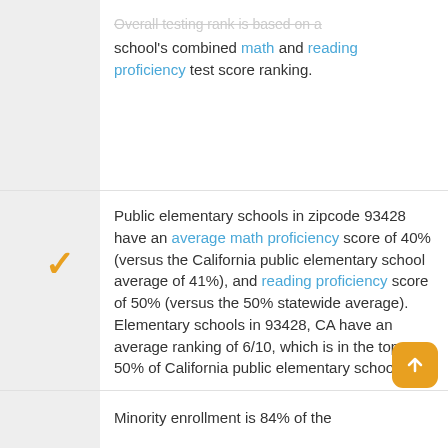Overall testing rank is based on a school's combined math and reading proficiency test score ranking.
Public elementary schools in zipcode 93428 have an average math proficiency score of 40% (versus the California public elementary school average of 41%), and reading proficiency score of 50% (versus the 50% statewide average). Elementary schools in 93428, CA have an average ranking of 6/10, which is in the top 50% of California public elementary schools.
Minority enrollment is 84% of the